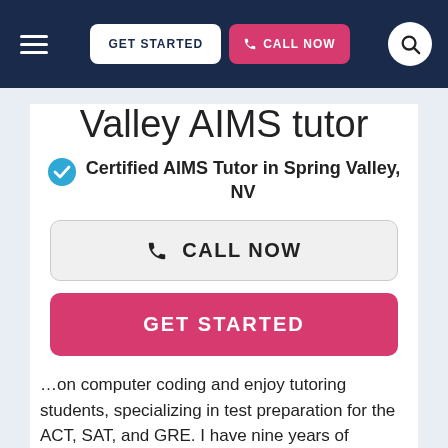GET STARTED  CALL NOW
Valley AIMS tutor
Certified AIMS Tutor in Spring Valley, NV
CALL NOW
GET STARTED
…on computer coding and enjoy tutoring students, specializing in test preparation for the ACT, SAT, and GRE. I have nine years of tutoring experience, tutoring students from elementary age to graduate level, as well as working with students with special